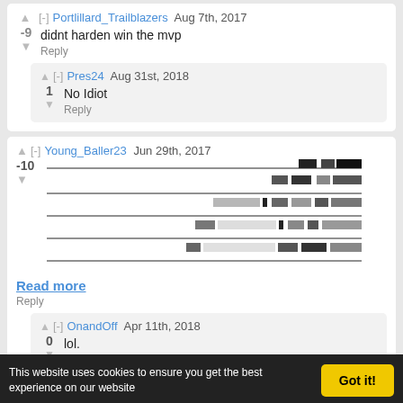[-] Portlillard_Trailblazers Aug 7th, 2017
-9 didnt harden win the mvp
Reply
[-] Pres24 Aug 31st, 2018
1 No Idiot
Reply
[-] Young_Baller23 Jun 29th, 2017
-10
[Figure (other): Redacted/censored horizontal bar chart with pixelated gray and black bars]
Read more
Reply
[-] OnandOff Apr 11th, 2018
0 lol.
Reply
This website uses cookies to ensure you get the best experience on our website
Got it!